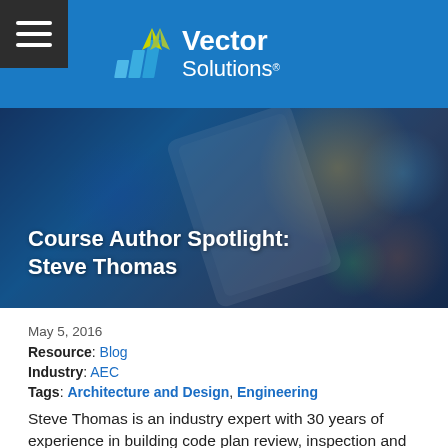Vector Solutions
[Figure (photo): Person holding a tablet device with bokeh light background, hero image for Course Author Spotlight: Steve Thomas article]
Course Author Spotlight: Steve Thomas
May 5, 2016
Resource: Blog
Industry: AEC
Tags: Architecture and Design, Engineering
Steve Thomas is an industry expert with 30 years of experience in building code plan review, inspection and administration. He is currently the president of Colorado Code Consulting, LLC. He served as the